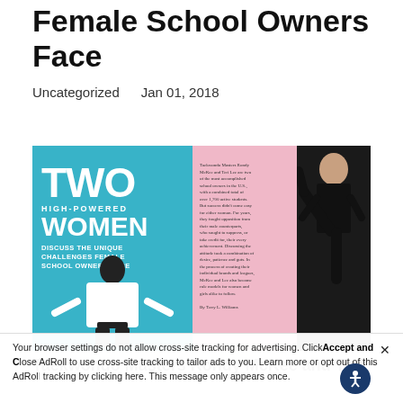Unique Challenges Female School Owners Face
Uncategorized    Jan 01, 2018
[Figure (photo): Magazine cover and article spread showing two women in taekwondo uniforms. Left side has teal background with text 'TWO HIGH-POWERED WOMEN DISCUSS THE UNIQUE CHALLENGES FEMALE SCHOOL OWNERS FACE'. Right side has pink background with article text and a woman executing a high kick in a black uniform.]
Taekwondo Masters Rondy McKee and Teri Lee
Your browser settings do not allow cross-site tracking for advertising. Click Accept and Close AdRoll to use cross-site tracking to tailor ads to you. Learn more or opt out of this AdRoll tracking by clicking here. This message only appears once.